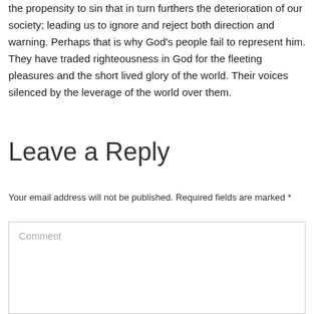the propensity to sin that in turn furthers the deterioration of our society; leading us to ignore and reject both direction and warning. Perhaps that is why God's people fail to represent him. They have traded righteousness in God for the fleeting pleasures and the short lived glory of the world. Their voices silenced by the leverage of the world over them.
Leave a Reply
Your email address will not be published. Required fields are marked *